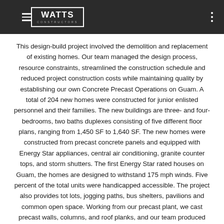WATTS CONSTRUCTORS
This design-build project involved the demolition and replacement of existing homes. Our team managed the design process, resource constraints, streamlined the construction schedule and reduced project construction costs while maintaining quality by establishing our own Concrete Precast Operations on Guam. A total of 204 new homes were constructed for junior enlisted personnel and their families. The new buildings are three- and four-bedrooms, two baths duplexes consisting of five different floor plans, ranging from 1,450 SF to 1,640 SF. The new homes were constructed from precast concrete panels and equipped with Energy Star appliances, central air conditioning, granite counter tops, and storm shutters. The first Energy Star rated houses on Guam, the homes are designed to withstand 175 mph winds. Five percent of the total units were handicapped accessible. The project also provides tot lots, jogging paths, bus shelters, pavilions and common open space. Working from our precast plant, we cast precast walls, columns, and roof planks, and our team produced